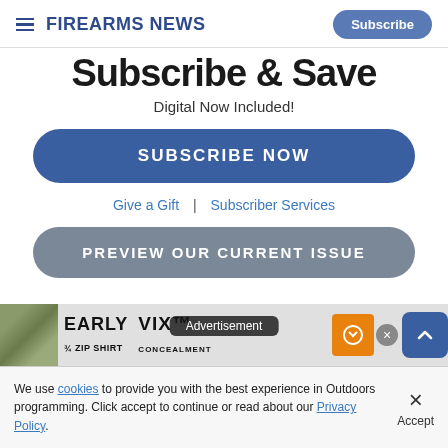Firearms News — Subscribe
Subscribe & Save
Digital Now Included!
SUBSCRIBE NOW
Give a Gift  |  Subscriber Services
PREVIEW OUR CURRENT ISSUE
[Figure (screenshot): Advertisement banner showing camouflage shirt, EARLY text, 3/4 ZIP SHIRT label, VIX brand, CONCEALMENT text, orange logo, and close button]
We use cookies to provide you with the best experience in Outdoors programming. Click accept to continue or read about our Privacy Policy.